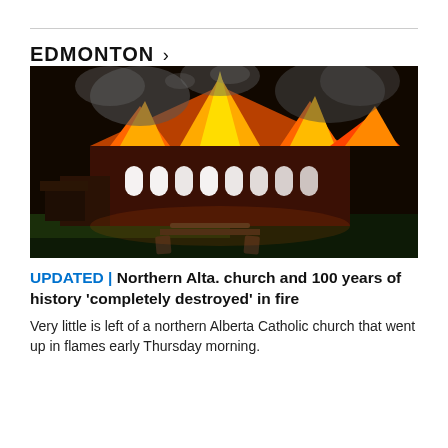EDMONTON >
[Figure (photo): Night photo of a church building engulfed in large orange flames and smoke, with glowing arched windows visible through the fire. A picnic table is visible in the foreground on a dirt ground.]
UPDATED | Northern Alta. church and 100 years of history 'completely destroyed' in fire
Very little is left of a northern Alberta Catholic church that went up in flames early Thursday morning.